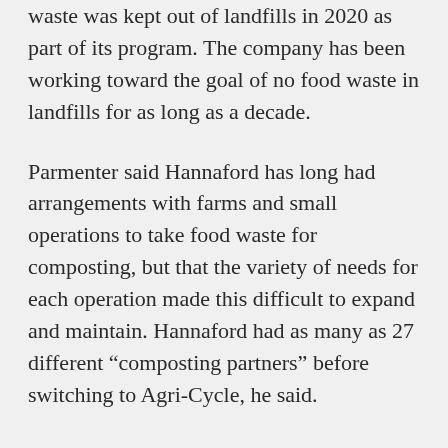waste was kept out of landfills in 2020 as part of its program. The company has been working toward the goal of no food waste in landfills for as long as a decade.
Parmenter said Hannaford has long had arrangements with farms and small operations to take food waste for composting, but that the variety of needs for each operation made this difficult to expand and maintain. Hannaford had as many as 27 different “composting partners” before switching to Agri-Cycle, he said.
Agri-Cycle’s origins can be traced back to 2011 when a pair of giant bacteria-filled vats were built at a dairy farm in Scarborough,